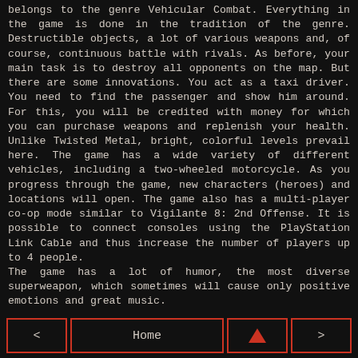belongs to the genre Vehicular Combat. Everything in the game is done in the tradition of the genre. Destructible objects, a lot of various weapons and, of course, continuous battle with rivals. As before, your main task is to destroy all opponents on the map. But there are some innovations. You act as a taxi driver. You need to find the passenger and show him around. For this, you will be credited with money for which you can purchase weapons and replenish your health. Unlike Twisted Metal, bright, colorful levels prevail here. The game has a wide variety of different vehicles, including a two-wheeled motorcycle. As you progress through the game, new characters (heroes) and locations will open. The game also has a multi-player co-op mode similar to Vigilante 8: 2nd Offense. It is possible to connect consoles using the PlayStation Link Cable and thus increase the number of players up to 4 people.
The game has a lot of humor, the most diverse superweapon, which sometimes will cause only positive emotions and great music.
< | Home | ▲ | >